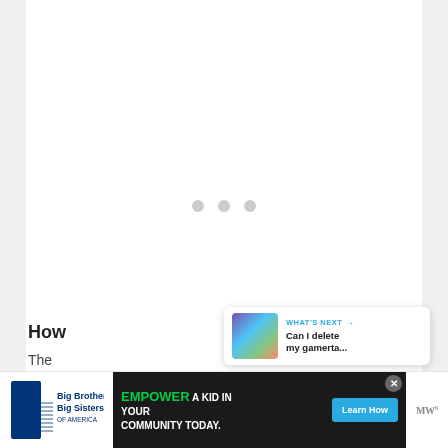[Figure (screenshot): Loading spinner with three gray dots centered on white background area]
[Figure (infographic): Blue circular like/heart button with count badge showing 1, and share button below]
[Figure (infographic): What's Next card showing thumbnail and text: Can I delete my gamerta...]
[Figure (infographic): Advertisement banner: Big Brothers Big Sisters logo on left, EMPOWER A KID IN YOUR COMMUNITY TODAY with Learn How button, close X button]
How
The